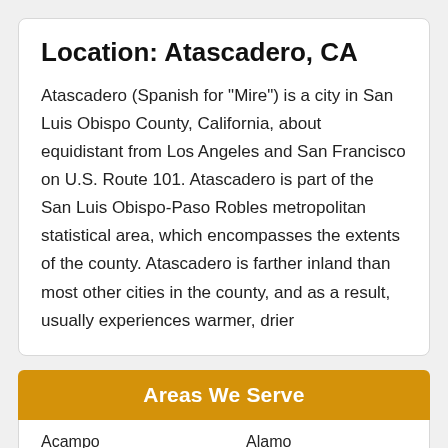Location: Atascadero, CA
Atascadero (Spanish for "Mire") is a city in San Luis Obispo County, California, about equidistant from Los Angeles and San Francisco on U.S. Route 101. Atascadero is part of the San Luis Obispo-Paso Robles metropolitan statistical area, which encompasses the extents of the county. Atascadero is farther inland than most other cities in the county, and as a result, usually experiences warmer, drier
Areas We Serve
| Acampo | Alamo |